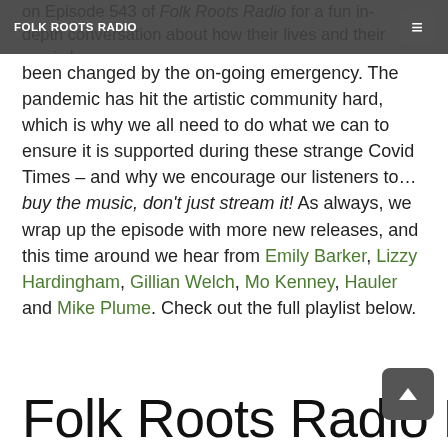FOLK ROOTS RADIO
on Episode 543 of Folk Roots Radio for a fun in-depth conversation about how their lives and their music have been changed by the on-going emergency. The pandemic has hit the artistic community hard, which is why we all need to do what we can to ensure it is supported during these strange Covid Times – and why we encourage our listeners to… buy the music, don't just stream it! As always, we wrap up the episode with more new releases, and this time around we hear from Emily Barker, Lizzy Hardingham, Gillian Welch, Mo Kenney, Hauler and Mike Plume. Check out the full playlist below.
Read More
Folk Roots Radio Episode